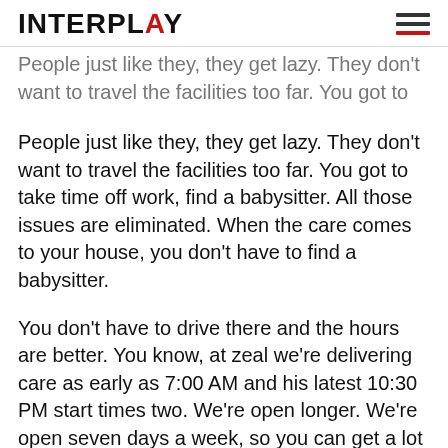INTERPLAY
People just like they, they get lazy. They don't want to travel the facilities too far. You got to take time off work, find a babysitter. All those issues are eliminated. When the care comes to your house, you don't have to find a babysitter.
You don't have to drive there and the hours are better. You know, at zeal we're delivering care as early as 7:00 AM and his latest 10:30 PM start times two. We're open longer. We're open seven days a week, so you can get a lot more done. Also. Why, why should you have to go to the laboratory to draw your blood?
I can come to you, draw your blood and Curry